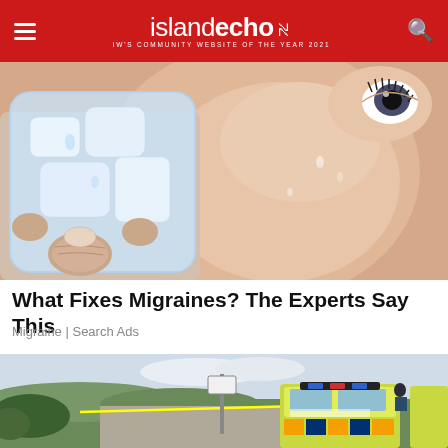island echo — IW's COMMUNITY WEBSITE OF THE YEAR 2021
[Figure (photo): Close-up of a person holding an ice pack against their sweaty face, showing cheek and eye]
What Fixes Migraines? The Experts Say This
Migraine | Search Ads
[Figure (photo): Police cars and police tape at a rural road with green hills in background]